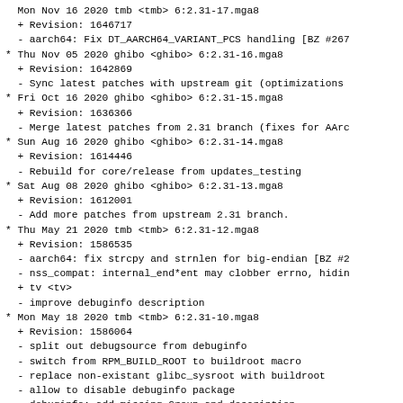Mon Nov 16 2020 tmb <tmb> 6:2.31-17.mga8
  + Revision: 1646717
  - aarch64: Fix DT_AARCH64_VARIANT_PCS handling [BZ #267
* Thu Nov 05 2020 ghibo <ghibo> 6:2.31-16.mga8
  + Revision: 1642869
  - Sync latest patches with upstream git (optimizations
* Fri Oct 16 2020 ghibo <ghibo> 6:2.31-15.mga8
  + Revision: 1636366
  - Merge latest patches from 2.31 branch (fixes for AArc
* Sun Aug 16 2020 ghibo <ghibo> 6:2.31-14.mga8
  + Revision: 1614446
  - Rebuild for core/release from updates_testing
* Sat Aug 08 2020 ghibo <ghibo> 6:2.31-13.mga8
  + Revision: 1612001
  - Add more patches from upstream 2.31 branch.
* Thu May 21 2020 tmb <tmb> 6:2.31-12.mga8
  + Revision: 1586535
  - aarch64: fix strcpy and strnlen for big-endian [BZ #2
  - nss_compat: internal_end*ent may clobber errno, hidin
  + tv <tv>
  - improve debuginfo description
* Mon May 18 2020 tmb <tmb> 6:2.31-10.mga8
  + Revision: 1586064
  - split out debugsource from debuginfo
  - switch from RPM_BUILD_ROOT to buildroot macro
  - replace non-existant glibc_sysroot with buildroot
  - allow to disable debuginfo package
  - debuginfo: add missing Group and description
  - add fixes by Thierry Vignaud:
    * we do not support ppc64
  - * generate_debuginfo_libs_EC_desc (mga#26517)